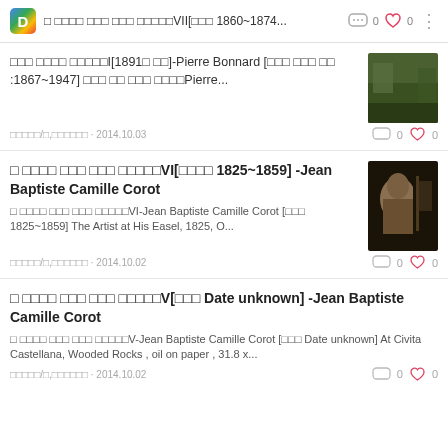□ □□□□ □□□ □□□ □□□□□VII[□□□ 1860~1874...
□□□ □□□□ □□□□□I[1891□ □□]-Pierre Bonnard [□□□ □□□ □□ :1867~1947] □□□ □□ □□□ □□□□Pierre...
□□□□□/□,□□□□□□ · 2014.10.03
□ □□□□ □□□ □□□ □□□□□VI[□□□□ 1825~1859] -Jean Baptiste Camille Corot
□ □□□□ □□□ □□□ □□□□□VI-Jean Baptiste Camille Corot  [□□□ 1825~1859]    The Artist at His Easel, 1825, O...
□□□□□/□,□□□□□□ · 2014.10.02
□ □□□□ □□□ □□□ □□□□□V[□□□ Date unknown] -Jean Baptiste Camille Corot
□ □□□□ □□□ □□□ □□□□□V-Jean Baptiste Camille Corot  [□□□ Date unknown]     At Civita Castellana, Wooded Rocks , oil on paper , 31.8 x...
□□□□□/□,□□□□□□ · 2014.10.02